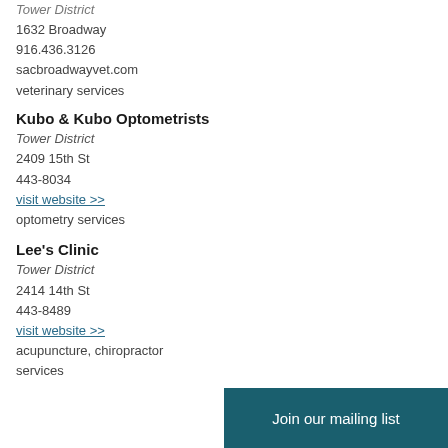Tower District
1632 Broadway
916.436.3126
sacbroadwayvet.com
veterinary services
Kubo & Kubo Optometrists
Tower District
2409 15th St
443-8034
visit website >>
optometry services
Lee's Clinic
Tower District
2414 14th St
443-8489
visit website >>
acupuncture, chiropractor services
Join our mailing list